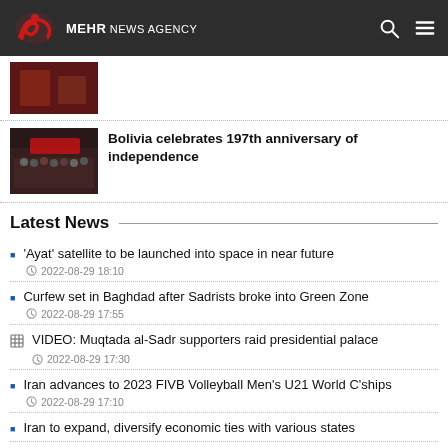MEHR NEWS AGENCY
[Figure (photo): Thumbnail image - dark reddish indoor scene]
[Figure (photo): Group photo of people at Bolivia independence anniversary event]
Bolivia celebrates 197th anniversary of independence
Latest News
'Ayat' satellite to be launched into space in near future · 2022-08-29 18:10
Curfew set in Baghdad after Sadrists broke into Green Zone · 2022-08-29 17:55
VIDEO: Muqtada al-Sadr supporters raid presidential palace · 2022-08-29 17:30
Iran advances to 2023 FIVB Volleyball Men's U21 World C'ships · 2022-08-29 17:10
Iran to expand, diversify economic ties with various states